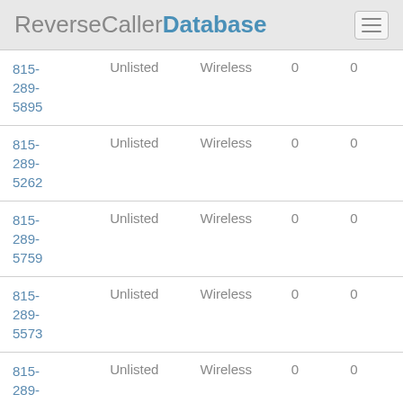ReverseCallerDatabase
| Phone | Listing | Type | Reports | Comments |
| --- | --- | --- | --- | --- |
| 815-289-5895 | Unlisted | Wireless | 0 | 0 |
| 815-289-5262 | Unlisted | Wireless | 0 | 0 |
| 815-289-5759 | Unlisted | Wireless | 0 | 0 |
| 815-289-5573 | Unlisted | Wireless | 0 | 0 |
| 815-289-5909 | Unlisted | Wireless | 0 | 0 |
| 815-289-... | Unlisted | Wireless | 0 | 0 |